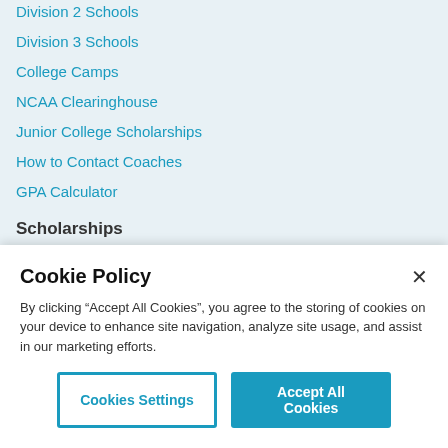Division 2 Schools
Division 3 Schools
College Camps
NCAA Clearinghouse
Junior College Scholarships
How to Contact Coaches
GPA Calculator
Scholarships
Baseball
Lacrosse
Cookie Policy
By clicking “Accept All Cookies”, you agree to the storing of cookies on your device to enhance site navigation, analyze site usage, and assist in our marketing efforts.
Cookies Settings
Accept All Cookies